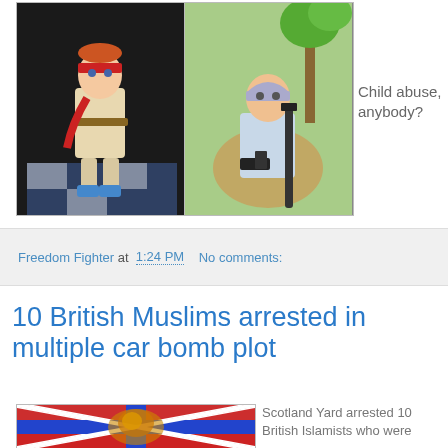[Figure (photo): Two photos side by side of toddlers dressed in military/fighter costumes with weapons]
Child abuse, anybody?
Freedom Fighter at 1:24 PM   No comments:
10 British Muslims arrested in multiple car bomb plot
[Figure (photo): British flag with lion imagery]
Scotland Yard arrested 10 British Islamists who were